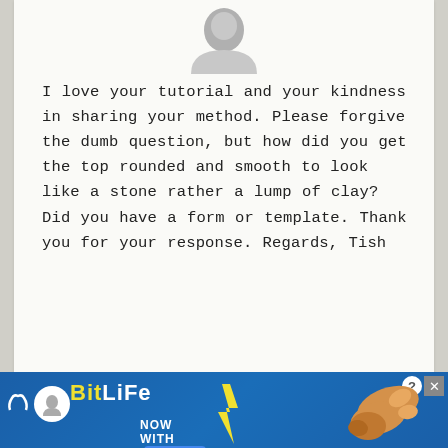[Figure (illustration): Default grey user avatar icon (person silhouette) at top of comment]
I love your tutorial and your kindness in sharing your method. Please forgive the dumb question, but how did you get the top rounded and smooth to look like a stone rather a lump of clay? Did you have a form or template. Thank you for your response. Regards, Tish
Reply
[Figure (screenshot): BitLife advertisement banner: 'NOW WITH GOD MODE' with lightning bolt and hand pointer graphics]